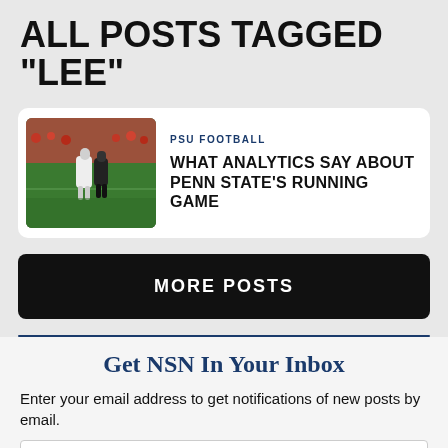ALL POSTS TAGGED "LEE"
[Figure (photo): Football game action photo showing Penn State players on field with crowd in background]
PSU FOOTBALL
WHAT ANALYTICS SAY ABOUT PENN STATE'S RUNNING GAME
MORE POSTS
Get NSN In Your Inbox
Enter your email address to get notifications of new posts by email.
Email Address